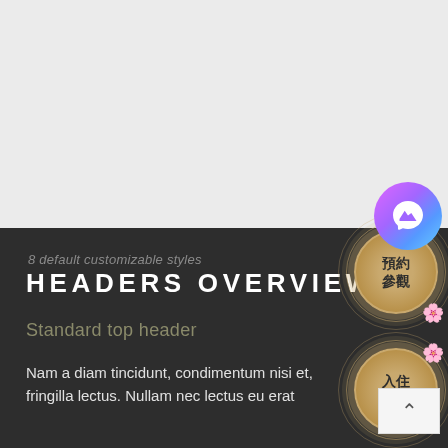[Figure (illustration): Light gray top section background area of a webpage screenshot]
[Figure (illustration): Messenger gradient circle button (purple/pink gradient) with white wavy lightning bolt icon]
[Figure (illustration): Gold circular button with concentric ring decorations and shell icon, labeled 預約參觀 (Book a Visit)]
[Figure (illustration): Gold circular button with concentric ring decorations and shell icon, labeled 入住通知 (Check-in Notification)]
[Figure (illustration): White/light gray back-to-top button with upward chevron arrow]
8 default customizable styles
HEADERS OVERVIEW
Standard top header
Nam a diam tincidunt, condimentum nisi et, fringilla lectus. Nullam nec lectus eu erat